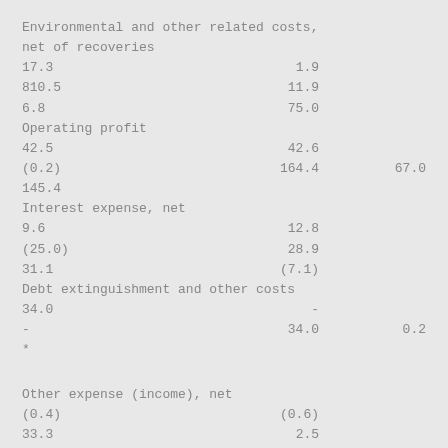| Environmental and other related costs,
net of recoveries |  |  |
| 17.3 | 1.9 |  |
| 810.5 | 11.9 |  |
| 6.8 | 75.0 |  |
| Operating profit |  |  |
| 42.5 | 42.6 |  |
| (0.2) | 164.4 | 67.0 |
| 145.4 |  |  |
| Interest expense, net |  |  |
| 9.6 | 12.8 |  |
| (25.0) | 28.9 |  |
| 31.1 | (7.1) |  |
| Debt extinguishment and other costs |  |  |
| 34.0 | - |  |
| - | 34.0 | 0.2 |
| * |  |  |
|  |  |  |
| Other expense (income), net |  |  |
| (0.4) | (0.6) |  |
| 33.3 | 2.5 |  |